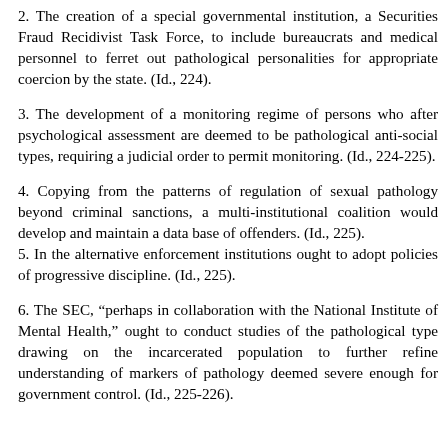2. The creation of a special governmental institution, a Securities Fraud Recidivist Task Force, to include bureaucrats and medical personnel to ferret out pathological personalities for appropriate coercion by the state. (Id., 224).
3. The development of a monitoring regime of persons who after psychological assessment are deemed to be pathological anti-social types, requiring a judicial order to permit monitoring. (Id., 224-225).
4. Copying from the patterns of regulation of sexual pathology beyond criminal sanctions, a multi-institutional coalition would develop and maintain a data base of offenders. (Id., 225).
5. In the alternative enforcement institutions ought to adopt policies of progressive discipline. (Id., 225).
6. The SEC, “perhaps in collaboration with the National Institute of Mental Health,” ought to conduct studies of the pathological type drawing on the incarcerated population to further refine understanding of markers of pathology deemed severe enough for government control. (Id., 225-226).